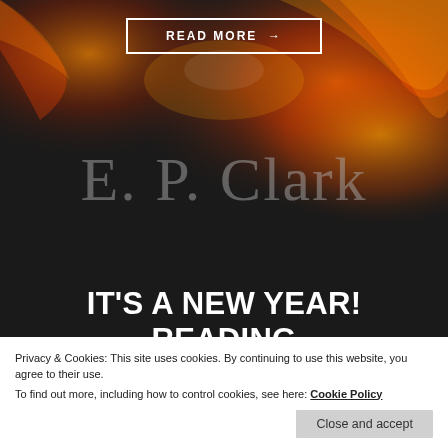[Figure (illustration): Dark background with fire/flame effects, decorative header image for E.P. Clark author website]
READ MORE →
E. P. Clark
IT'S A NEW YEAR! READING RECOMMENDATIONS AND UPDATES
Privacy & Cookies: This site uses cookies. By continuing to use this website, you agree to their use.
To find out more, including how to control cookies, see here: Cookie Policy
Close and accept
busy with a new project. I've decided to make audio